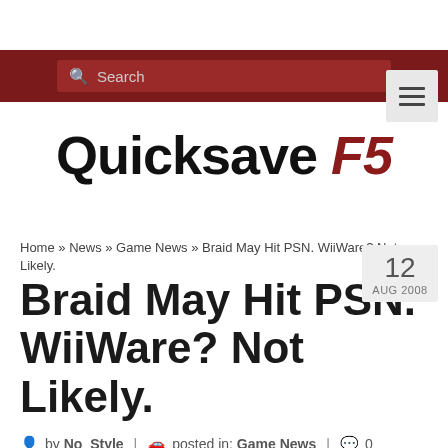Search
Quicksave F5
Home » News » Game News » Braid May Hit PSN. WiiWare? Not Likely.
Braid May Hit PSN. WiiWare? Not Likely.
by No_Style | posted in: Game News | 0